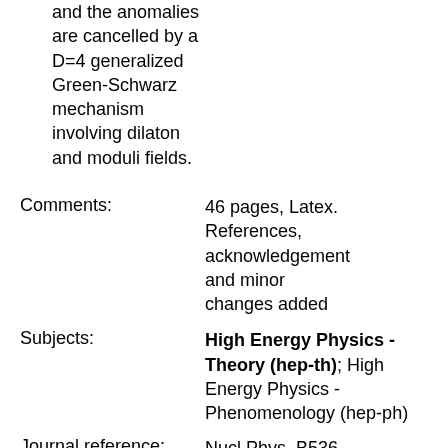and the anomalies are cancelled by a D=4 generalized Green-Schwarz mechanism involving dilaton and moduli fields.
Comments: 46 pages, Latex. References, acknowledgement and minor changes added
Subjects: High Energy Physics - Theory (hep-th); High Energy Physics - Phenomenology (hep-ph)
Journal reference: Nucl.Phys. B536 (1998) 29-68